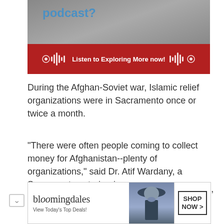[Figure (screenshot): Podcast banner showing 'podcast?' text in blue on a grey background, with a red bar at the bottom containing waveform icons and text 'Listen to Exploring More now!']
During the Afghan-Soviet war, Islamic relief organizations were in Sacramento once or twice a month.
"There were often people coming to collect money for Afghanistan--plenty of organizations," said Dr. Atif Wardany, a Sacramento veterinarian.
So there was nothing out of the ordinary when, in the early 1990s, a prominent San Jose physician [...]ed Ali Zaki brought to Sacramento a man he
[Figure (screenshot): Bloomingdale's advertisement banner: logo text 'bloomingdales', tagline 'View Today's Top Deals!', photo of woman in hat, 'SHOP NOW >' button]